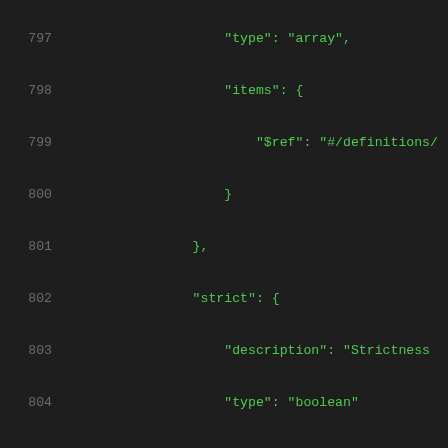Code listing lines 797-818 showing JSON schema definition with fields: items, strict, resource, type_shape_v1, union-member